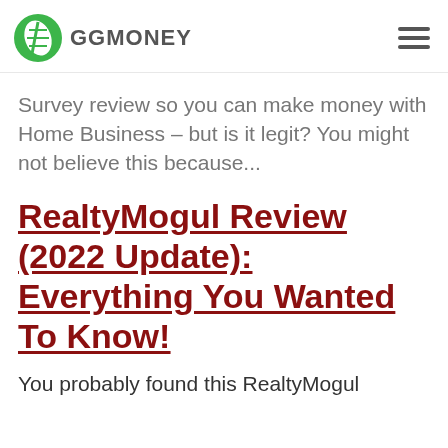GGMONEY
Survey review so you can make money with Home Business – but is it legit? You might not believe this because...
RealtyMogul Review (2022 Update): Everything You Wanted To Know!
You probably found this RealtyMogul